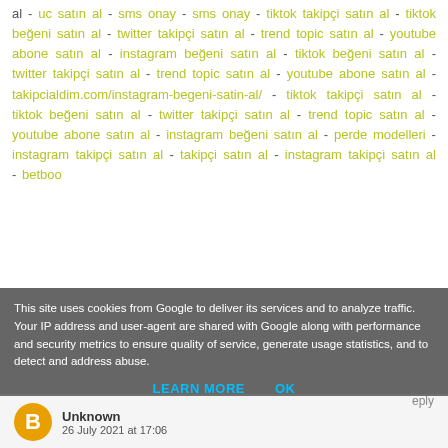al - uc satın al - sms onay - sms onay - tiktok takipçi satın al - tiktok beğeni satın al - twitter takipçi satın al - trend topic satın al - youtube abone satın al - instagram beğeni satın al - tiktok beğeni satın al - twitter takipçi satın al - trend topic satın al - youtube abone satın al - takipcialdim.com/instagram-begeni-satin-al/ - tiktok takipçi satın al - tiktok beğeni satın al - twitter takipçi satın al - trend topic satın al - youtube abone satın al - instagram beğeni satın al - perde modelleri - instagram takipçi satın al - takipçi satın al - instagram takipçi satın al - betboo
This site uses cookies from Google to deliver its services and to analyze traffic. Your IP address and user-agent are shared with Google along with performance and security metrics to ensure quality of service, generate usage statistics, and to detect and address abuse.
LEARN MORE   OK
Unknown
26 July 2021 at 17:06